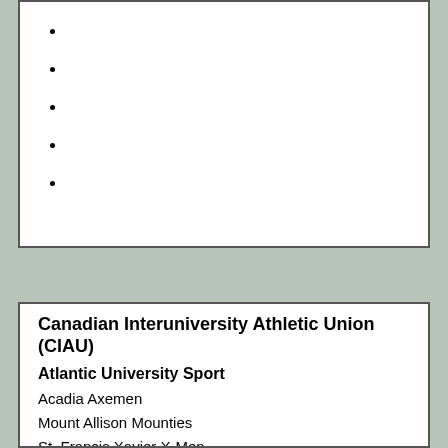Canadian Interuniversity Athletic Union (CIAU)
Atlantic University Sport
Acadia Axemen
Mount Allison Mounties
St. Francis Xavier X-Men
Saint Mary's Huskies
Ontario-Quebec Intercollegiate Football Conference